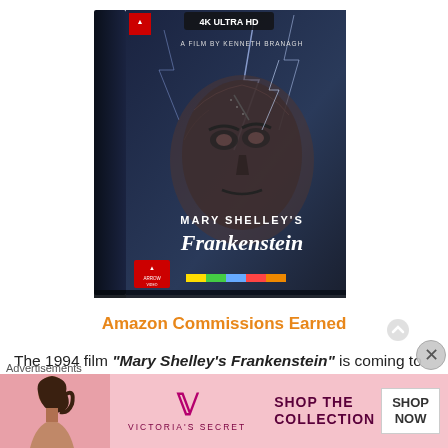[Figure (photo): Product photo of Mary Shelley's Frankenstein 4K Ultra HD Blu-ray box set by Arrow Video. The cover features a dramatic illustrated face of the creature with lightning in the background. Text on cover: '4K ULTRA HD', 'A FILM BY KENNETH BRANAGH', 'MARY SHELLEY'S Frankenstein', Arrow Video logo, colorful spine strip.]
Amazon Commissions Earned
The 1994 film "Mary Shelley's Frankenstein" is coming to 4K
[Figure (screenshot): Advertisement banner for Victoria's Secret. Pink background with model photo on left, VS logo, text 'SHOP THE COLLECTION', and 'SHOP NOW' button on right. Label 'Advertisements' above banner.]